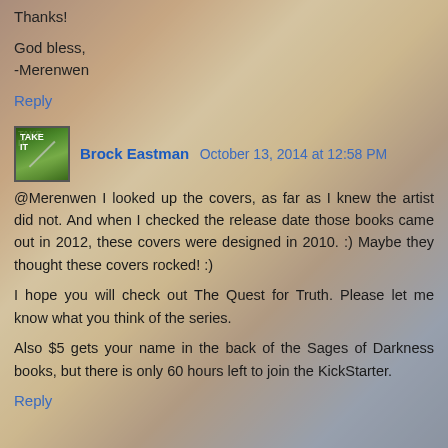Thanks!
God bless,
-Merenwen
Reply
Brock Eastman October 13, 2014 at 12:58 PM
@Merenwen I looked up the covers, as far as I knew the artist did not. And when I checked the release date those books came out in 2012, these covers were designed in 2010. :) Maybe they thought these covers rocked! :)
I hope you will check out The Quest for Truth. Please let me know what you think of the series.
Also $5 gets your name in the back of the Sages of Darkness books, but there is only 60 hours left to join the KickStarter.
Reply